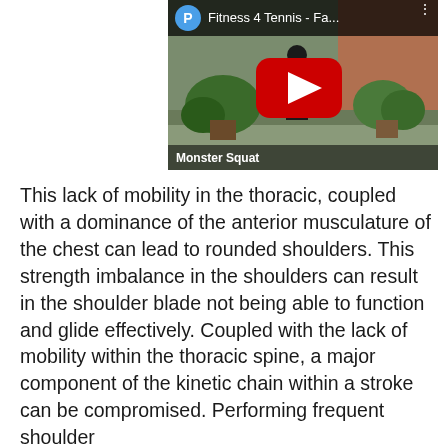[Figure (screenshot): YouTube video thumbnail showing 'Fitness 4 Tennis - Fa...' with a play button overlay. Scene shows outdoor area with potted plants and a person. Bottom-left text reads 'Monster Squat'.]
This lack of mobility in the thoracic, coupled with a dominance of the anterior musculature of the chest can lead to rounded shoulders. This strength imbalance in the shoulders can result in the shoulder blade not being able to function and glide effectively. Coupled with the lack of mobility within the thoracic spine, a major component of the kinetic chain within a stroke can be compromised. Performing frequent shoulder